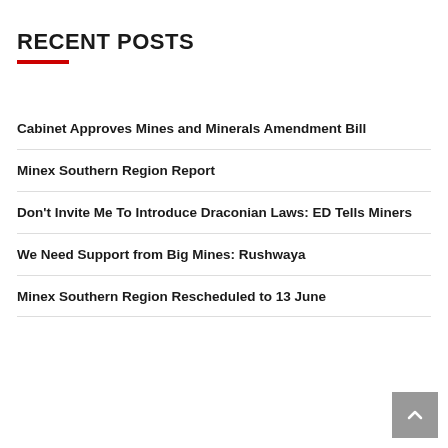RECENT POSTS
Cabinet Approves Mines and Minerals Amendment Bill
Minex Southern Region Report
Don't Invite Me To Introduce Draconian Laws: ED Tells Miners
We Need Support from Big Mines: Rushwaya
Minex Southern Region Rescheduled to 13 June